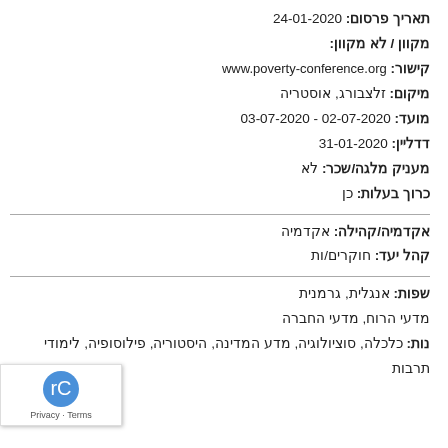תאריך פרסום: 24-01-2020
מקוון / לא מקוון:
קישור: www.poverty-conference.org
מיקום: זלצבורג, אוסטריה
מועד: 02-07-2020 - 03-07-2020
דדליין: 31-01-2020
מעניק מלגה/שכר: לא
כרוך בעלות: כן
אקדמיה/קהילה: אקדמיה
קהל יעד: חוקרים/ות
שפות: אנגלית, גרמנית
מדעי הרוח, מדעי החברה
נות: כלכלה, סוציולוגיה, מדע המדינה, היסטוריה, פילוסופיה, לימודי תרבות